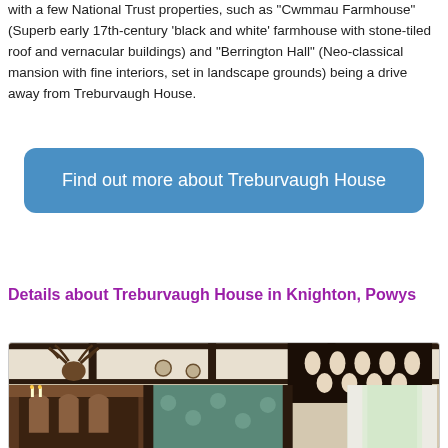with a few National Trust properties, such as 'Cwmmau Farmhouse' (Superb early 17th-century 'black and white' farmhouse with stone-tiled roof and vernacular buildings) and "Berrington Hall" (Neo-classical mansion with fine interiors, set in landscape grounds) being a drive away from Treburvaugh House.
Find out more about Treburvaugh House
Details about Treburvaugh House in Knighton, Powys
[Figure (photo): Interior photo of Treburvaugh House showing a dark wood-beamed ceiling, mounted stag head on the wall above a fireplace with ornate mantelpiece, decorative carved dark wood screen or partition, floral wallpaper panels, and a window with white curtains letting in natural light.]